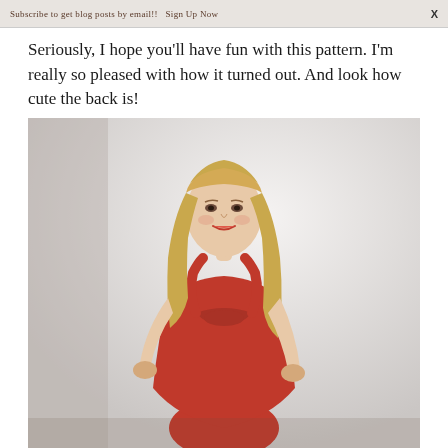Subscribe to get blog posts by email!! Sign Up Now   X
Seriously, I hope you'll have fun with this pattern. I'm really so pleased with how it turned out. And look how cute the back is!
[Figure (photo): A woman with long blonde hair wearing a red halter-style dress, posed against a light background, shown from approximately the knees up.]